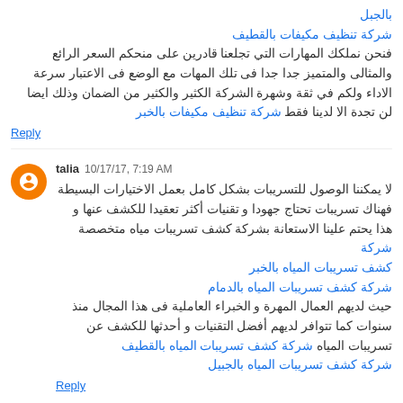بالجبل
شركة تنظيف مكيفات بالقطيف
فنحن نملكك المهارات التي تجلعنا قادرين على منحكم السعر الرائع والمثالى والمتميز جدا جدا فى تلك المهات مع الوضع فى الاعتبار سرعة الاداء ولكم في ثقة وشهرة الشركة الكثير والكثير من الضمان وذلك ايضا لن تجدة الا لدينا فقط شركة تنظيف مكيفات بالخبر
Reply
talia 10/17/17, 7:19 AM
لا يمكننا الوصول للتسريبات بشكل كامل بعمل الاختيارات البسيطة فهناك تسريبات تحتاج جهودا و تقنيات أكثر تعقيدا للكشف عنها و هذا يحتم علينا الاستعانة بشركة كشف تسريبات مياه متخصصة شركة كشف تسريبات المياه بالخبر
شركة كشف تسريبات المياه بالدمام
حيث لديهم العمال المهرة و الخبراء العاملية فى هذا المجال منذ سنوات كما تتوافر لديهم أفضل التقنيات و أحدثها للكشف عن تسريبات المياه شركة كشف تسريبات المياه بالقطيف
شركة كشف تسريبات المياه بالجبيل
Reply